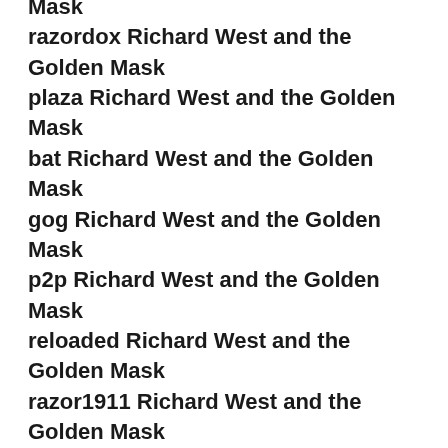Mask (partial, top cut off)
razordox Richard West and the Golden Mask
plaza Richard West and the Golden Mask
bat Richard West and the Golden Mask
gog Richard West and the Golden Mask
p2p Richard West and the Golden Mask
reloaded Richard West and the Golden Mask
razor1911 Richard West and the Golden Mask
hoodlum Richard West and the Golden Mask
darksiders Richard West and the Golden Mask
fitgirl Richard West and the Golden Mask (partial, bottom cut off)